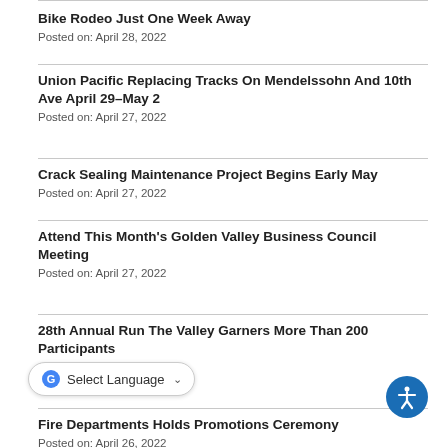Bike Rodeo Just One Week Away
Posted on: April 28, 2022
Union Pacific Replacing Tracks On Mendelssohn And 10th Ave April 29–May 2
Posted on: April 27, 2022
Crack Sealing Maintenance Project Begins Early May
Posted on: April 27, 2022
Attend This Month's Golden Valley Business Council Meeting
Posted on: April 27, 2022
28th Annual Run The Valley Garners More Than 200 Participants
Posted on: April 26, 2022
Fire Departments Holds Promotions Ceremony
Posted on: April 26, 2022